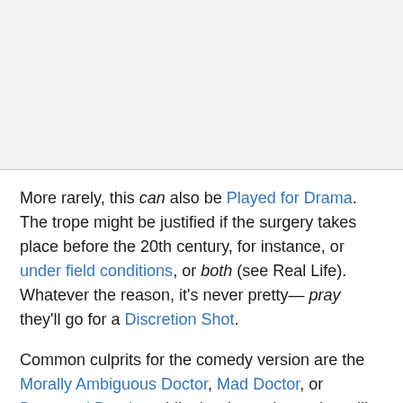[Figure (other): Gray placeholder image area at top of page]
More rarely, this can also be Played for Drama. The trope might be justified if the surgery takes place before the 20th century, for instance, or under field conditions, or both (see Real Life). Whatever the reason, it's never pretty— pray they'll go for a Discretion Shot.
Common culprits for the comedy version are the Morally Ambiguous Doctor, Mad Doctor, or Depraved Dentist, while the dramatic version will more likely involve The Medic or the Frontier Doctor. A Back-Alley Doctor might be used for